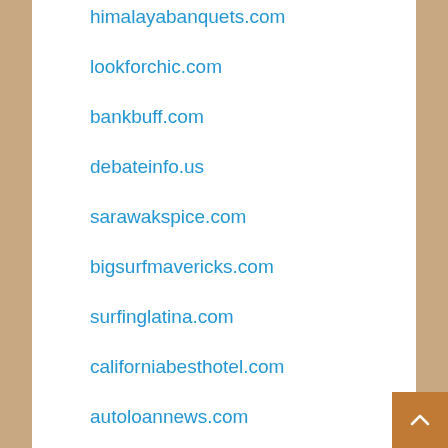himalayabanquets.com
lookforchic.com
bankbuff.com
debateinfo.us
sarawakspice.com
bigsurfmavericks.com
surfinglatina.com
californiabesthotel.com
autoloannews.com
refinanceloanmortgage.com